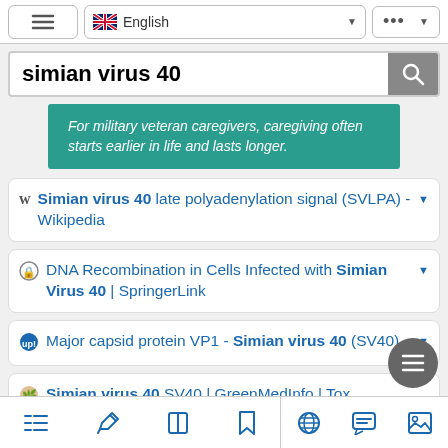[Figure (screenshot): Top navigation bar with hamburger menu, English language selector with UK flag, and more options button]
[Figure (screenshot): Search bar with text 'simian virus 40' and search button]
For military veteran caregivers, caregiving often starts earlier in life and lasts longer.
Simian virus 40 late polyadenylation signal (SVLPA) - Wikipedia
DNA Recombination in Cells Infected with Simian Virus 40 | SpringerLink
Major capsid protein VP1 - Simian virus 40 (SV40)
Simian virus 40 SV40 | GreenMedInfo | Toxic Ingredient | Natural
[Figure (screenshot): Bottom navigation bar with list, edit, book, bookmark, globe, chat, and image icons]